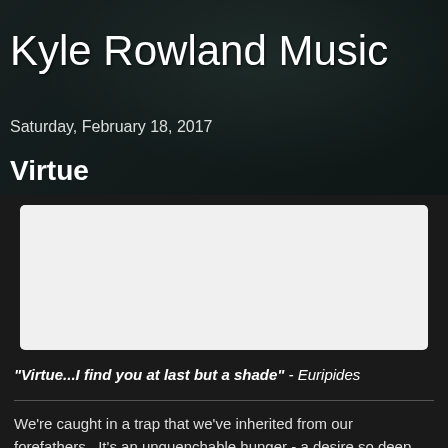Kyle Rowland Music
Saturday, February 18, 2017
Virtue
[Figure (other): Embedded audio/media player — white rectangular box]
“Virtue...I find you at last but a shade” - Euripides
We’re caught in a trap that we’ve inherited from our forefathers.  It’s an unquenchable hunger - a desire so deep, so intimately woven into the fabric of our souls that we by